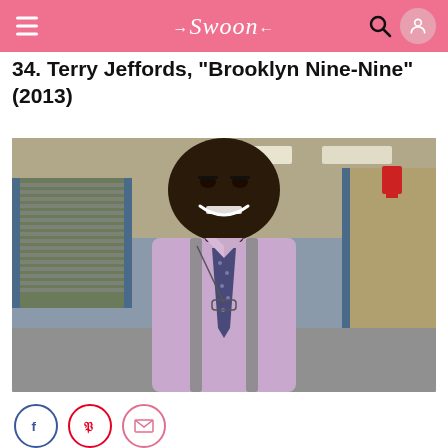Swoon
34. Terry Jeffords, "Brooklyn Nine-Nine" (2013)
[Figure (photo): A smiling muscular bald man wearing a lavender dress shirt, dark patterned tie, and grey suspenders with glasses hanging from the neck, standing in what appears to be an office or precinct setting. This appears to be Terry Crews as Terry Jeffords from Brooklyn Nine-Nine.]
Social sharing icons: Facebook, Pinterest, Email